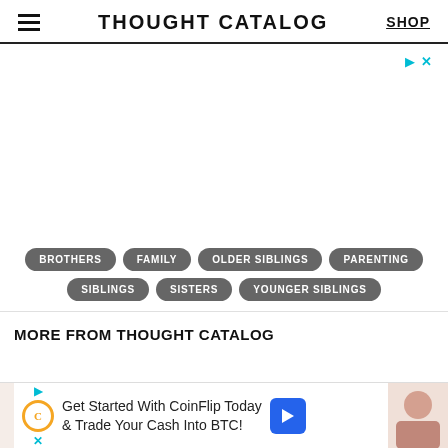THOUGHT CATALOG | SHOP
[Figure (other): Advertisement area with play and close controls (ad placeholder, mostly blank)]
BROTHERS
FAMILY
OLDER SIBLINGS
PARENTING
SIBLINGS
SISTERS
YOUNGER SIBLINGS
MORE FROM THOUGHT CATALOG
[Figure (other): Bottom advertisement bar: Get Started With CoinFlip Today & Trade Your Cash Into BTC!]